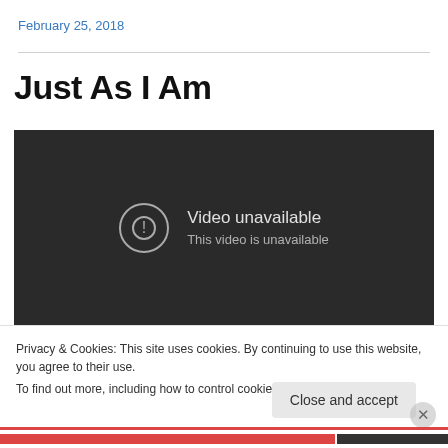February 25, 2018
Just As I Am
[Figure (screenshot): Embedded YouTube video player showing 'Video unavailable' message with a circular exclamation icon. Text reads: 'Video unavailable' and 'This video is unavailable'.]
Privacy & Cookies: This site uses cookies. By continuing to use this website, you agree to their use.
To find out more, including how to control cookies, see here: Cookie Policy